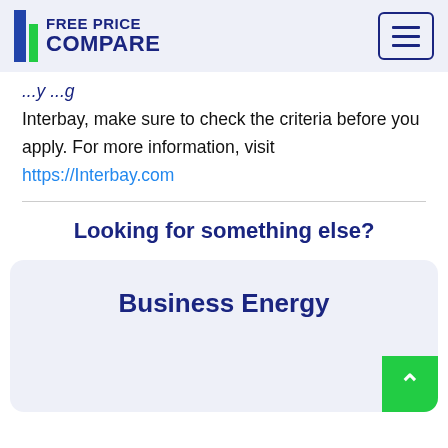Free Price Compare
Interbay, make sure to check the criteria before you apply. For more information, visit https://Interbay.com
Looking for something else?
Business Energy